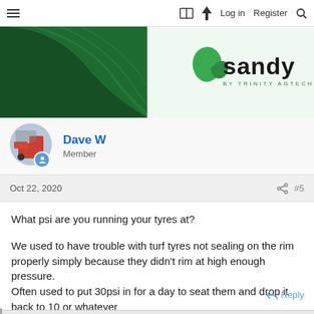≡  [book icon] [lightning icon] Log in  Register [search icon]
[Figure (illustration): Advertisement banner for 'sandy by TRINITY AGTECH' with green background featuring curved wave pattern and a green leaf logo on the right side with the brand name 'sandy' in large text and 'BY TRINITY AGTECH' in small caps below.]
Dave W
Member
Oct 22, 2020  #5
What psi are you running your tyres at?

We used to have trouble with turf tyres not sealing on the rim properly simply because they didn't rim at high enough pressure.
Often used to put 30psi in for a day to seat them and drop it back to 10 or whatever
Reply